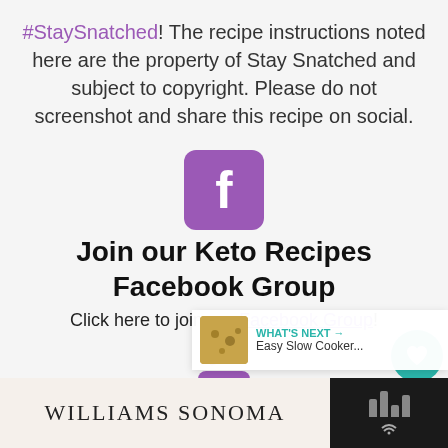#StaySnatched! The recipe instructions noted here are the property of Stay Snatched and subject to copyright. Please do not screenshot and share this recipe on social.
[Figure (logo): Facebook logo icon - purple rounded square with white 'f']
Join our Keto Recipes Facebook Group
Click here to join our Facebook Group!
[Figure (logo): YouTube logo icon - purple rounded square with white play button, with purple diagonal slash above]
Subscribe to our YouTube
[Figure (infographic): Social sidebar with heart/like button showing 11.6K count and share button]
[Figure (infographic): What's Next overlay showing Easy Slow Cooker... with thumbnail]
[Figure (infographic): Williams Sonoma advertisement bar at bottom]